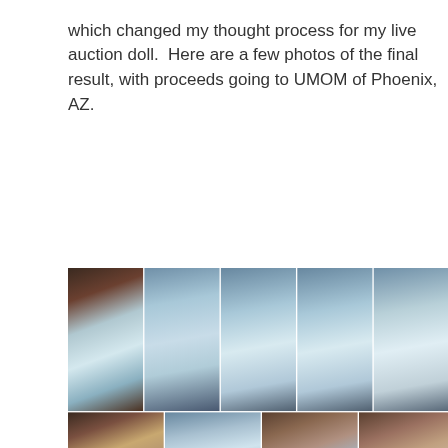which changed my thought process for my live auction doll.  Here are a few photos of the final result, with proceeds going to UMOM of Phoenix, AZ.
[Figure (photo): A grid of 9 photos showing a collectible doll dressed in an elaborate light blue/white gown with silver accents and a decorative headpiece with feathers. The doll has red hair. Photos show front, back, and detail views of the doll and its outfit.]